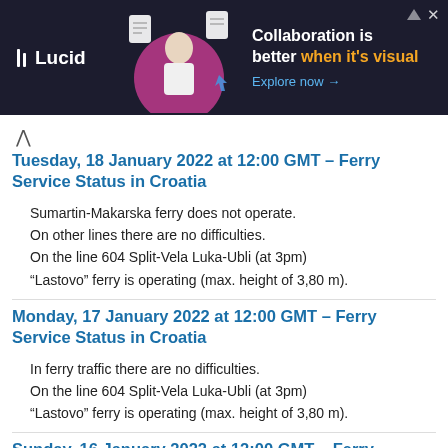[Figure (illustration): Lucid advertisement banner with dark background, logo, person image, and text 'Collaboration is better when it's visual. Explore now →']
Tuesday, 18 January 2022 at 12:00 GMT – Ferry Service Status in Croatia
Sumartin-Makarska ferry does not operate.
On other lines there are no difficulties.
On the line 604 Split-Vela Luka-Ubli (at 3pm)
"Lastovo" ferry is operating (max. height of 3,80 m).
Monday, 17 January 2022 at 12:00 GMT – Ferry Service Status in Croatia
In ferry traffic there are no difficulties.
On the line 604 Split-Vela Luka-Ubli (at 3pm)
"Lastovo" ferry is operating (max. height of 3,80 m).
Sunday, 16 January 2022 at 12:00 GMT – Ferry Service Status in Croatia